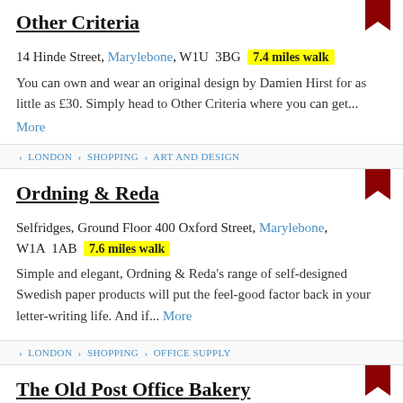Other Criteria
14 Hinde Street, Marylebone, W1U 3BG  7.4 miles walk
You can own and wear an original design by Damien Hirst for as little as £30. Simply head to Other Criteria where you can get... More
> LONDON > SHOPPING > ART AND DESIGN
Ordning & Reda
Selfridges, Ground Floor 400 Oxford Street, Marylebone, W1A 1AB  7.6 miles walk
Simple and elegant, Ordning & Reda's range of self-designed Swedish paper products will put the feel-good factor back in your letter-writing life. And if... More
> LONDON > SHOPPING > OFFICE SUPPLY
The Old Post Office Bakery